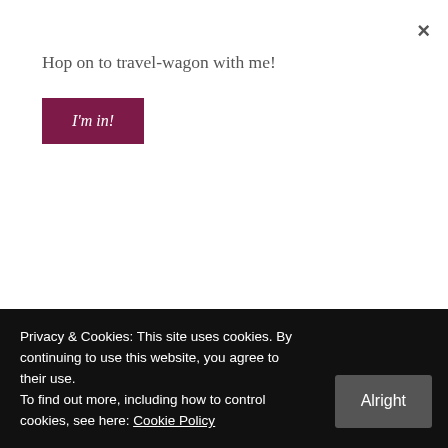×
Hop on to travel-wagon with me!
I'm in!
Such a great piece of article.
BEST NECK PILLOW FOR SLEEPING   May 6, 2017 at 4:05 AM
REPLY →
Good write-up, I'm regular visitor of one's
Privacy & Cookies: This site uses cookies. By continuing to use this website, you agree to their use.
To find out more, including how to control cookies, see here: Cookie Policy
Alright